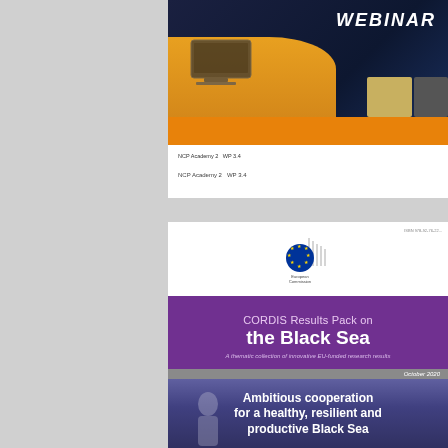[Figure (photo): Webinar promotional image with person at laptop and orange strip at bottom, showing 'WEBINAR' text]
NCP Academy 2  WP 3.4
[Figure (photo): CORDIS Results Pack on the Black Sea cover page with European Commission logo, purple header, and subimage of people]
ISBN 978-92-76-22...
CORDIS Results Pack on the Black Sea
A thematic collection of innovative EU-funded research results
October 2020
Ambitious cooperation for a healthy, resilient and productive Black Sea